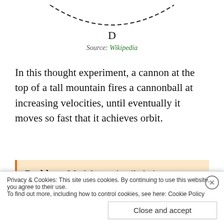[Figure (illustration): Partial view of a dashed arc diagram showing a curved trajectory labeled D, representing Newton's cannonball thought experiment. Only the bottom portion of the arc is visible with a label 'D' beneath it.]
Source: Wikipedia
In this thought experiment, a cannon at the top of a tall mountain fires a cannonball at increasing velocities, until eventually it moves so fast that it achieves orbit.
Problem: Model a projectile being launched into orbit in this manner, and visually explore the transition between falling to Earth and...
Privacy & Cookies: This site uses cookies. By continuing to use this website, you agree to their use.
To find out more, including how to control cookies, see here: Cookie Policy
Close and accept